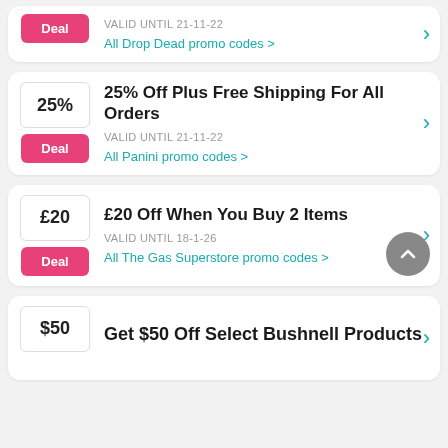VALID UNTIL 21-11-22
All Drop Dead promo codes >
25% Off Plus Free Shipping For All Orders
VALID UNTIL 21-11-22
All Panini promo codes >
£20 Off When You Buy 2 Items
VALID UNTIL 18-1-26
All The Gas Superstore promo codes >
Get $50 Off Select Bushnell Products